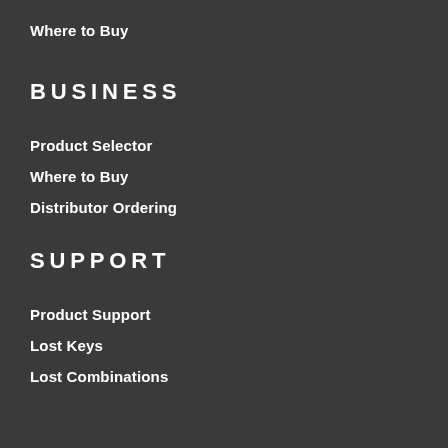Where to Buy
BUSINESS
Product Selector
Where to Buy
Distributor Ordering
SUPPORT
Product Support
Lost Keys
Lost Combinations